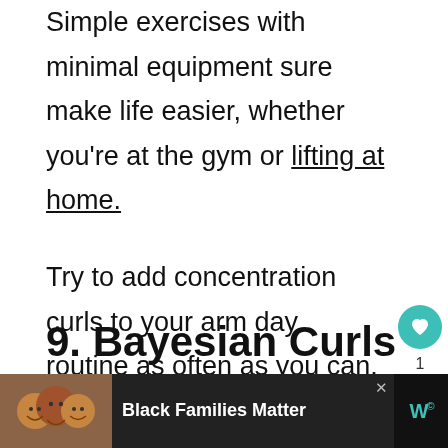Simple exercises with minimal equipment sure make life easier, whether you're at the gym or lifting at home.
Try to add concentration curls to your arm day routine as often as you can. Start with fewer reps, and add weight over time as you feel those gains.
9. Bayesian Curls
[Figure (photo): Advertisement banner at the bottom showing smiling people with text 'Black Families Matter' and a media logo on the right]